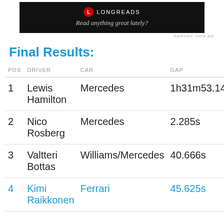[Figure (other): Longreads advertisement banner with black background, red circle logo with 'L', 'LONGREADS' text, and tagline 'Read anything great lately?']
REPORT THIS AD
Final Results:
| POS | DRIVER | CAR | GAP |
| --- | --- | --- | --- |
| 1 | Lewis Hamilton | Mercedes | 1h31m53.145s |
| 2 | Nico Rosberg | Mercedes | 2.285s |
| 3 | Valtteri Bottas | Williams/Mercedes | 40.666s |
| 4 | Kimi Raikkonen | Ferrari | 45.625s |